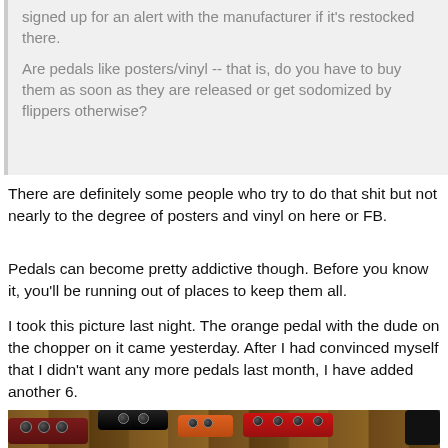signed up for an alert with the manufacturer if it's restocked there.

Are pedals like posters/vinyl -- that is, do you have to buy them as soon as they are released or get sodomized by flippers otherwise?
There are definitely some people who try to do that shit but not nearly to the degree of posters and vinyl on here or FB.
Pedals can become pretty addictive though. Before you know it, you'll be running out of places to keep them all.
I took this picture last night. The orange pedal with the dude on the chopper on it came yesterday. After I had convinced myself that I didn't want any more pedals last month, I have added another 6.
[Figure (photo): Photo of multiple guitar effect pedals arranged on a wooden surface. Visible pedals include a dark red/maroon pedal labeled Atomic on the left, a black pedal in the center-back, an orange pedal, and a red pedal on the right. Various cables and knobs visible.]